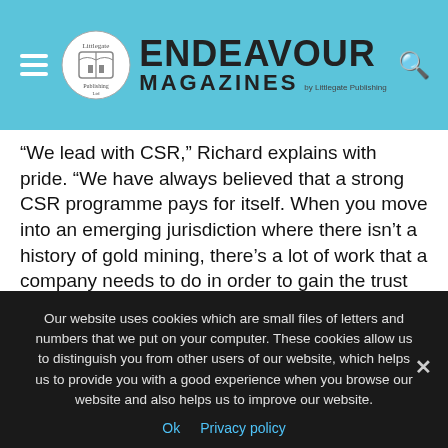Endeavour Magazines by Littlegate Publishing
“We lead with CSR,” Richard explains with pride. “We have always believed that a strong CSR programme pays for itself. When you move into an emerging jurisdiction where there isn’t a history of gold mining, there’s a lot of work that a company needs to do in order to gain the trust of its stakeholders. We’ve really focused on that: it’s our aim to lead the West African mining community in CSR.”
Our website uses cookies which are small files of letters and numbers that we put on your computer. These cookies allow us to distinguish you from other users of our website, which helps us to provide you with a good experience when you browse our website and also helps us to improve our website.
Ok  Privacy policy